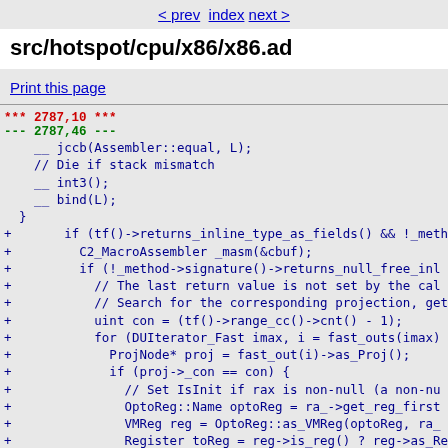< prev  index  next >
src/hotspot/cpu/x86/x86.ad
Print this page
*** 2787,10 ***
--- 2787,46 ---
    __ jccb(Assembler::equal, L);
    // Die if stack mismatch
    __ int3();
    __ bind(L);
  }
+       if (tf()->returns_inline_type_as_fields() && !_meth
+         C2_MacroAssembler _masm(&cbuf);
+         if (!_method->signature()->returns_null_free_inl
+           // The last return value is not set by the cal
+           // Search for the corresponding projection, get
+           uint con = (tf()->range_cc()->cnt() - 1);
+           for (DUIterator_Fast imax, i = fast_outs(imax)
+             ProjNode* proj = fast_out(i)->as_Proj();
+             if (proj->_con == con) {
+               // Set IsInit if rax is non-null (a non-nu
+               OptoReg::Name optoReg = ra_->get_reg_first
+               VMReg reg = OptoReg::as_VMReg(optoReg, ra_
+               Register toReg = reg->is_reg() ? reg->as_Re
+               testq(rax, rax);